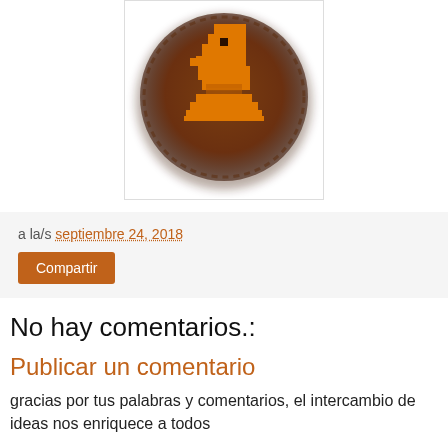[Figure (illustration): Chess knight piece icon on a round brown button/badge background, with a golden/orange pixel-art style horse knight chess piece centered on a dark brown circular base with blurred edges.]
a la/s septiembre 24, 2018
Compartir
No hay comentarios.:
Publicar un comentario
gracias por tus palabras y comentarios, el intercambio de ideas nos enriquece a todos